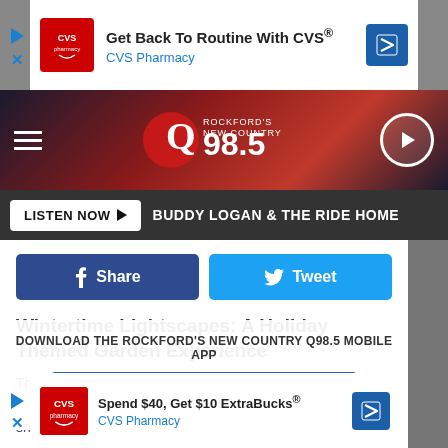[Figure (screenshot): CVS Pharmacy ad banner: 'Get Back To Routine With CVS® CVS Pharmacy']
[Figure (screenshot): Q98.5 radio station navigation bar with hamburger menu, logo, and play button]
[Figure (screenshot): Listen Now button bar with text 'BUDDY LOGAN & THE RIDE HOME']
[Figure (screenshot): Facebook Share and Twitter Tweet social buttons]
Wintertime Lightscapes: A Holiday Themed Garden Experience
This week, I had the pleasure of being one of the first to see this new holiday display. I have to say it truly was nothing short of incredible. Here are some of the photos I took.
[Figure (screenshot): Download the Rockford's New Country Q98.5 Mobile App overlay with 'GET OUR FREE MOBILE APP' button]
Here's A look at the experience at Anderson Japanese Gardens
[Figure (screenshot): Also listen on: amazon alexa overlay]
[Figure (screenshot): CVS Pharmacy bottom ad: 'Spend $40, Get $10 ExtraBucks® CVS Pharmacy']